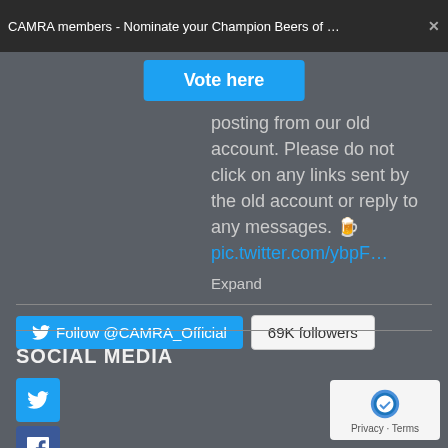CAMRA members - Nominate your Champion Beers of Britai...
Vote here
posting from our old account. Please do not click on any links sent by the old account or reply to any messages. 🍻
pic.twitter.com/ybpF…
Expand
Follow @CAMRA_Official  69K followers
SOCIAL MEDIA
[Figure (logo): reCAPTCHA badge with Privacy and Terms links]